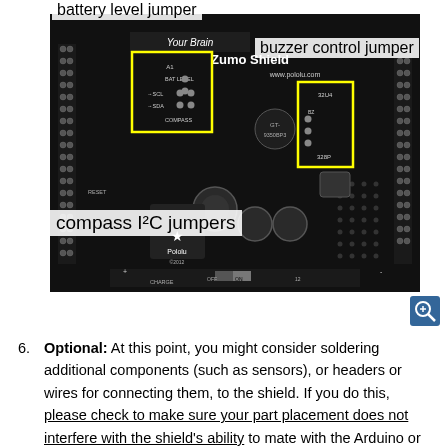[Figure (photo): Top-down photograph of a Pololu Zumo Shield Arduino board (black PCB) with yellow highlight boxes marking: battery level jumper (top-left area with A1/BAT LEVEL label), compass I2C jumpers (left area with SCL/SDA/COMPASS labels), and buzzer control jumper (right area with 32U4/BZ label). The board shows 'Your Brain', 'Zumo Shield', 'www.pololu.com', 'zum01a', '6J3944', '328P', 'Pololu', '©2012', 'RESET', 'VBAT', 'GND', 'CHARGE', 'OFF', 'ON' text. Callout labels point to: battery level jumper (top), buzzer control jumper (top right), compass I²C jumpers (left middle).]
battery level jumper
buzzer control jumper
compass I²C jumpers
Optional: At this point, you might consider soldering additional components (such as sensors), or headers or wires for connecting them, to the shield. If you do this, please check to make sure your part placement does not interfere with the shield's ability to mate with the Arduino or the chassis. In particular,